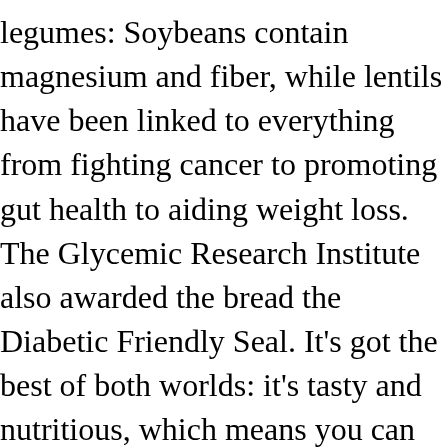legumes: Soybeans contain magnesium and fiber, while lentils have been linked to everything from fighting cancer to promoting gut health to aiding weight loss. The Glycemic Research Institute also awarded the bread the Diabetic Friendly Seal. It's got the best of both worlds: it's tasty and nutritious, which means you can get your sandwich fix without the guilt. It has four grams of belly-filling fiber in only one slice. We know how important making choices about your overall health is, and we strive to provide you with the best information